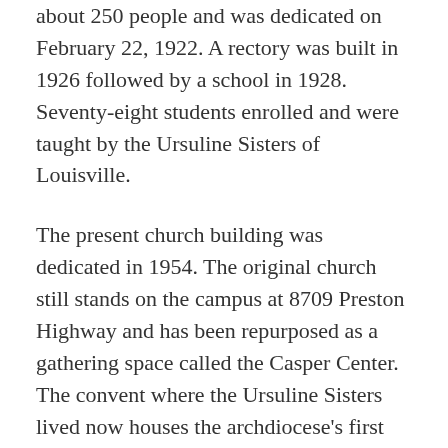about 250 people and was dedicated on February 22, 1922. A rectory was built in 1926 followed by a school in 1928. Seventy-eight students enrolled and were taught by the Ursuline Sisters of Louisville.
The present church building was dedicated in 1954. The original church still stands on the campus at 8709 Preston Highway and has been repurposed as a gathering space called the Casper Center. The convent where the Ursuline Sisters lived now houses the archdiocese's first Office of Hispanic Ministry.
Since then, St. Rita has become